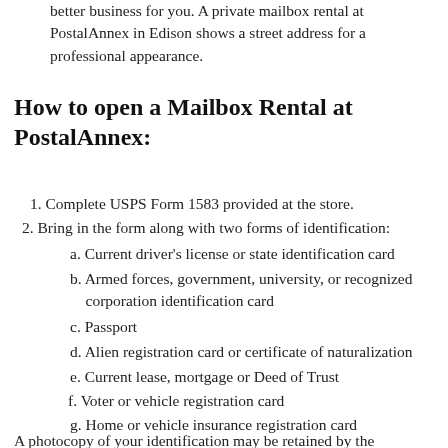better business for you. A private mailbox rental at PostalAnnex in Edison shows a street address for a professional appearance.
How to open a Mailbox Rental at PostalAnnex:
1. Complete USPS Form 1583 provided at the store.
2. Bring in the form along with two forms of identification:
a. Current driver's license or state identification card
b. Armed forces, government, university, or recognized corporation identification card
c. Passport
d. Alien registration card or certificate of naturalization
e. Current lease, mortgage or Deed of Trust
f. Voter or vehicle registration card
g. Home or vehicle insurance registration card
A photocopy of your identification may be retained by the